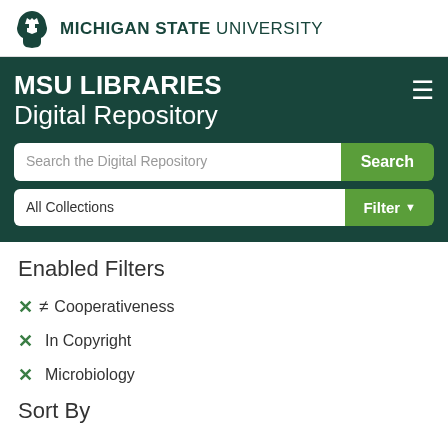[Figure (logo): Michigan State University Spartan helmet logo with text 'MICHIGAN STATE UNIVERSITY']
MSU LIBRARIES Digital Repository
Search the Digital Repository [Search button] All Collections [Filter button]
Enabled Filters
✕ ≠ Cooperativeness
✕ In Copyright
✕ Microbiology
Sort By